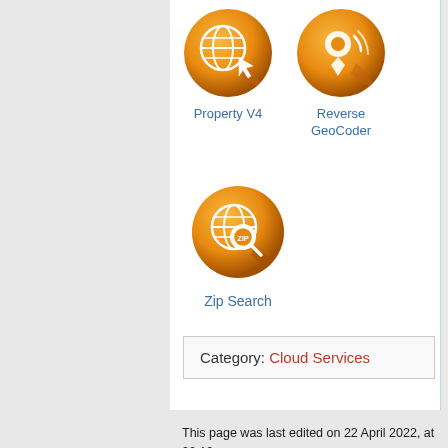[Figure (illustration): Orange circular icon with globe and cursor symbol for Property V4]
Property V4
[Figure (illustration): Orange circular icon with location pin for Reverse GeoCoder]
Reverse GeoCoder
[Figure (illustration): Orange circular icon with globe and ZIP magnifying glass for Zip Search]
Zip Search
Category:  Cloud Services
This page was last edited on 22 April 2022, at 00:12.
Privacy policy   About Melissa Data Wiki
Disclaimer   Powered by